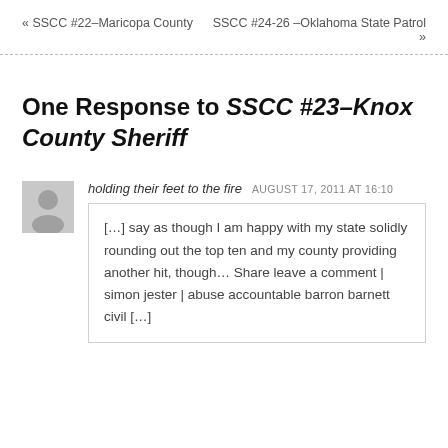« SSCC #22–Maricopa County
SSCC #24-26 –Oklahoma State Patrol »
One Response to SSCC #23–Knox County Sheriff
holding their feet to the fire   AUGUST 17, 2011 AT 16:10
[…] say as though I am happy with my state solidly rounding out the top ten and my county providing another hit, though… Share leave a comment | simon jester | abuse accountable barron barnett civil […]